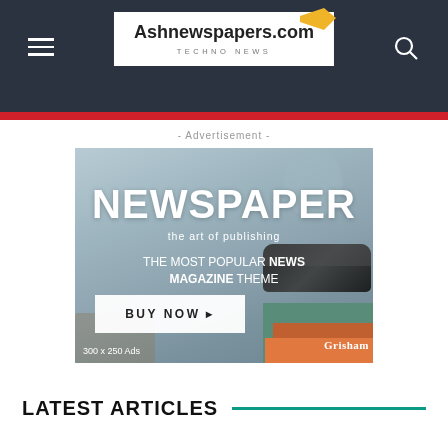Ashnewspapers.com — TECHNO NEWS
- Advertisement -
[Figure (advertisement): Newspaper theme advertisement banner showing 'NEWSPAPER the art of publishing — THE MOST POPULAR NEWS MAGAZINE THEME — BUY NOW' with books and sunglasses imagery. 300 x 250 Ads.]
LATEST ARTICLES